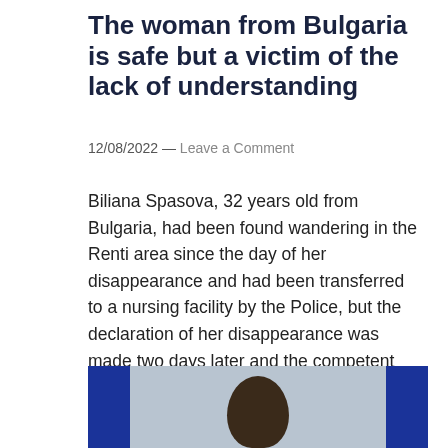The woman from Bulgaria is safe but a victim of the lack of understanding
12/08/2022 — Leave a Comment
Biliana Spasova, 32 years old from Bulgaria, had been found wandering in the Renti area since the day of her disappearance and had been transferred to a nursing facility by the Police, but the declaration of her disappearance was made two days later and the competent Services did not communicate with each other.
[Figure (photo): Partial photo of a person's head with dark hair, flanked by blue vertical bars on either side against a light background.]